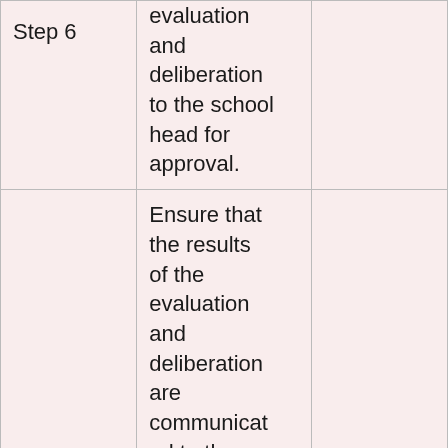| Step 6 | evaluation and deliberation to the school head for approval. |  |
| Step 7 | Ensure that the results of the evaluation and deliberation are communicated to the class advisers, |  |